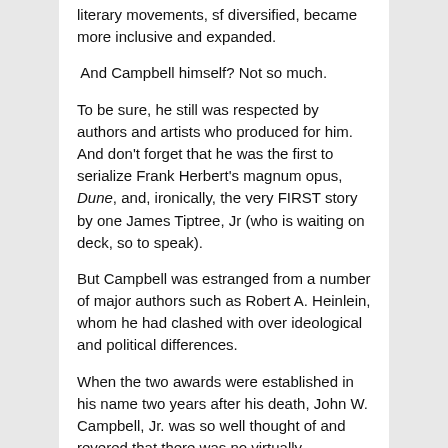literary movements, sf diversified, became more inclusive and expanded.
And Campbell himself? Not so much.
To be sure, he still was respected by authors and artists who produced for him. And don't forget that he was the first to serialize Frank Herbert's magnum opus, Dune, and, ironically, the very FIRST story by one James Tiptree, Jr (who is waiting on deck, so to speak).
But Campbell was estranged from a number of major authors such as Robert A. Heinlein, whom he had clashed with over ideological and political differences.
When the two awards were established in his name two years after his death, John W. Campbell, Jr. was so well thought of and revered that there was no virtually opposition from any of the sponsors; Conde Nast Magazines (which later morphed into Dell Magazines) and the World Science Fiction Society (as the administrator)